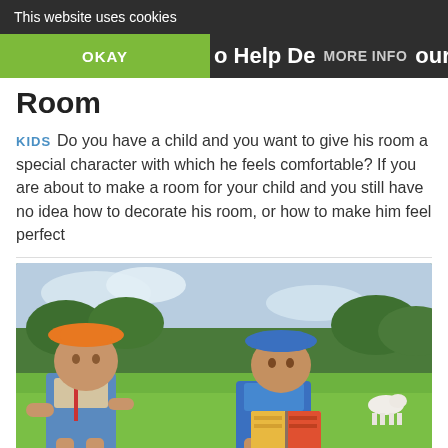This website uses cookies
OKAY | MORE INFO | o Help Decorate Your
Room
KIDS  Do you have a child and you want to give his room a special character with which he feels comfortable? If you are about to make a room for your child and you still have no idea how to decorate his room, or how to make him feel perfect
[Figure (photo): Two young boys sitting in a grassy field outdoors. The boy on the left wears an orange bucket hat and denim overalls. The boy on the right wears a blue bucket hat and blue t-shirt with overalls, and is reading a colorful book. Green trees are visible in the background along with a white dog.]